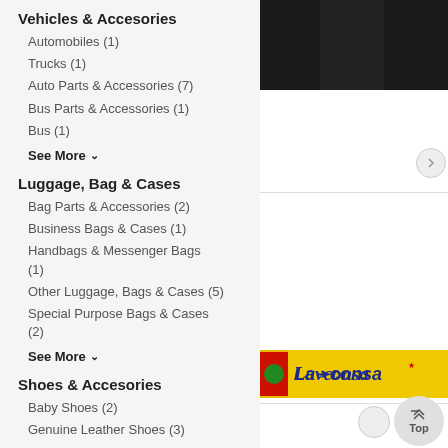Vehicles & Accesories
Automobiles (1)
Trucks (1)
Auto Parts & Accessories (7)
Bus Parts & Accessories (1)
Bus (1)
See More ∨
Luggage, Bag & Cases
Bag Parts & Accessories (2)
Business Bags & Cases (1)
Handbags & Messenger Bags (1)
Other Luggage, Bags & Cases (5)
Special Purpose Bags & Cases (2)
See More ∨
Shoes & Accesories
Baby Shoes (2)
Genuine Leather Shoes (3)
Men's Shoes (3)
[Figure (photo): Dark product image showing black panels/tiles at top right]
[Figure (photo): Lavconsa branded product packaging in yellow and red at bottom right]